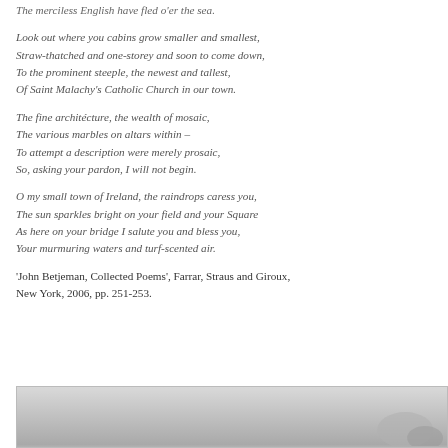The merciless English have fled o'er the sea.
Look out where you cabins grow smaller and smallest,
Straw-thatched and one-storey and soon to come down,
To the prominent steeple, the newest and tallest,
Of Saint Malachy's Catholic Church in our town.
The fine architécture, the wealth of mosaic,
The various marbles on altars within –
To attempt a description were merely prosaic,
So, asking your pardon, I will not begin.
O my small town of Ireland, the raindrops caress you,
The sun sparkles bright on your field and your Square
As here on your bridge I salute you and bless you,
Your murmuring waters and turf-scented air.
'John Betjeman, Collected Poems', Farrar, Straus and Giroux, New York, 2006, pp. 251-253.
[Figure (photo): Black and white photograph, partially visible at bottom of page]